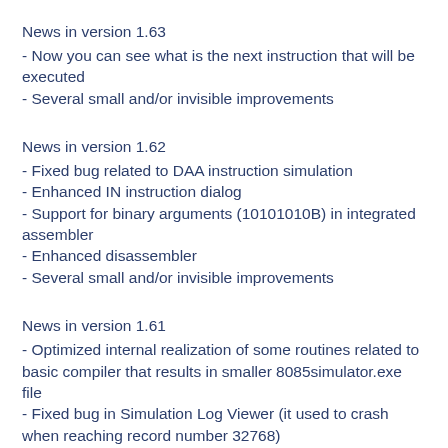News in version 1.63
- Now you can see what is the next instruction that will be executed
- Several small and/or invisible improvements
News in version 1.62
- Fixed bug related to DAA instruction simulation
- Enhanced IN instruction dialog
- Support for binary arguments (10101010B) in integrated assembler
- Enhanced disassembler
- Several small and/or invisible improvements
News in version 1.61
- Optimized internal realization of some routines related to basic compiler that results in smaller 8085simulator.exe file
- Fixed bug in Simulation Log Viewer (it used to crash when reaching record number 32768)
- Settings in Peripheral Devices window will be remembered for future sessions
- Fixed bug in disassembler when using it with very large